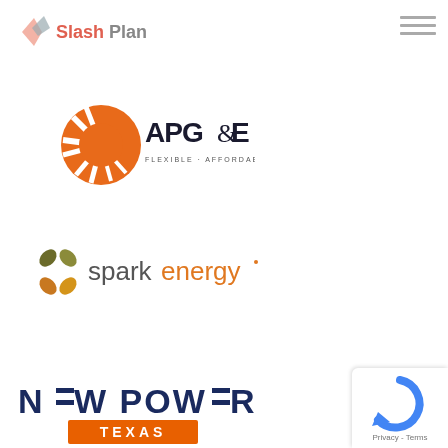[Figure (logo): SlashPlan logo with stylized diamond/kite shapes in salmon/coral and gray colors, with text 'Slash' in coral and 'Plan' in gray]
[Figure (logo): APG&E logo with orange sunburst circle and text 'APG&E' with tagline 'FLEXIBLE • AFFORDABLE • ENERGY']
[Figure (logo): Spark Energy logo with olive/brown and orange/yellow abstract pinwheel icon and text 'spark energy' in orange and gray]
[Figure (logo): New Power Texas logo with bold dark blue text 'N=W POW=R' and orange rectangle with white text 'TEXAS']
[Figure (other): reCAPTCHA badge with blue circular arrow icon and text 'Privacy - Terms' on white rounded rectangle]